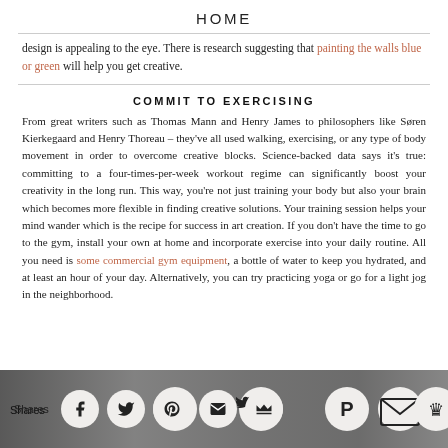HOME
design is appealing to the eye. There is research suggesting that painting the walls blue or green will help you get creative.
COMMIT TO EXERCISING
From great writers such as Thomas Mann and Henry James to philosophers like Søren Kierkegaard and Henry Thoreau – they've all used walking, exercising, or any type of body movement in order to overcome creative blocks. Science-backed data says it's true: committing to a four-times-per-week workout regime can significantly boost your creativity in the long run. This way, you're not just training your body but also your brain which becomes more flexible in finding creative solutions. Your training session helps your mind wander which is the recipe for success in art creation. If you don't have the time to go to the gym, install your own at home and incorporate exercise into your daily routine. All you need is some commercial gym equipment, a bottle of water to keep you hydrated, and at least an hour of your day. Alternatively, you can try practicing yoga or go for a light jog in the neighborhood.
[Figure (photo): Social sharing bar with photo background and circular social media icons for Facebook, Twitter, Pinterest, email, and a crown icon, with Shares label on the left.]